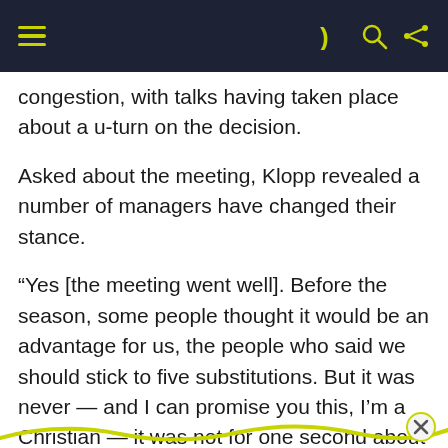≡  ) Q <
congestion, with talks having taken place about a u-turn on the decision.
Asked about the meeting, Klopp revealed a number of managers have changed their stance.
“Yes [the meeting went well]. Before the season, some people thought it would be an advantage for us, the people who said we should stick to five substitutions. But it was never — and I can promise you this, I’m a Christian — it was not for one second about having an advantage. All the other countries did it. Italy — Juventus, Inter Milan, they have the biggest squads, but still the other clubs said, ‘We need five